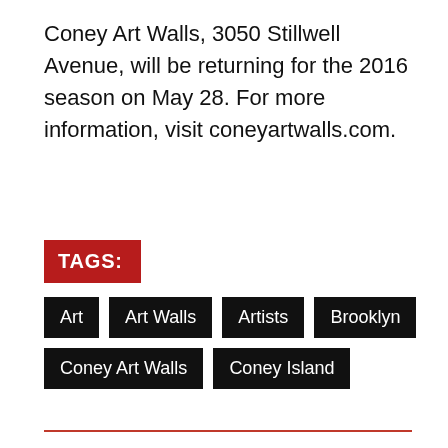Coney Art Walls, 3050 Stillwell Avenue, will be returning for the 2016 season on May 28. For more information, visit coneyartwalls.com.
TAGS:
Art
Art Walls
Artists
Brooklyn
Coney Art Walls
Coney Island